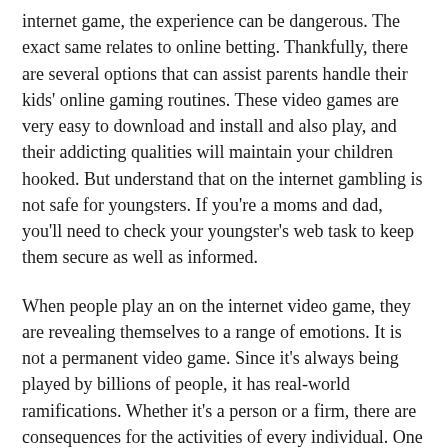internet game, the experience can be dangerous. The exact same relates to online betting. Thankfully, there are several options that can assist parents handle their kids' online gaming routines. These video games are very easy to download and install and also play, and their addicting qualities will maintain your children hooked. But understand that on the internet gambling is not safe for youngsters. If you're a moms and dad, you'll need to check your youngster's web task to keep them secure as well as informed.
When people play an on the internet video game, they are revealing themselves to a range of emotions. It is not a permanent video game. Since it's always being played by billions of people, it has real-world ramifications. Whether it's a person or a firm, there are consequences for the activities of every individual. One of the most noticeable consequence is that people who play online video games are being exposed to other people's thoughts and sensations.